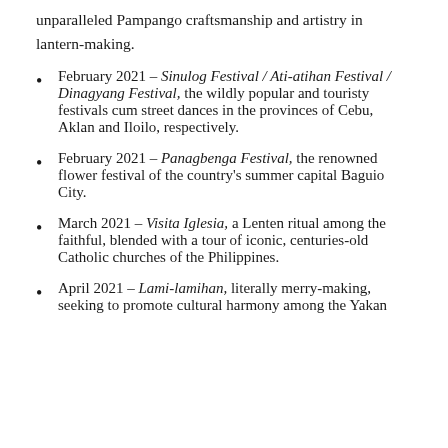unparalleled Pampango craftsmanship and artistry in lantern-making.
February 2021 – Sinulog Festival / Ati-atihan Festival / Dinagyang Festival, the wildly popular and touristy festivals cum street dances in the provinces of Cebu, Aklan and Iloilo, respectively.
February 2021 – Panagbenga Festival, the renowned flower festival of the country's summer capital Baguio City.
March 2021 – Visita Iglesia, a Lenten ritual among the faithful, blended with a tour of iconic, centuries-old Catholic churches of the Philippines.
April 2021 – Lami-lamihan, literally merry-making, seeking to promote cultural harmony among the Yakan